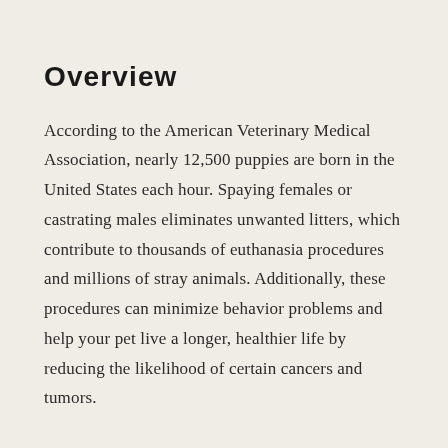Overview
According to the American Veterinary Medical Association, nearly 12,500 puppies are born in the United States each hour. Spaying females or castrating males eliminates unwanted litters, which contribute to thousands of euthanasia procedures and millions of stray animals. Additionally, these procedures can minimize behavior problems and help your pet live a longer, healthier life by reducing the likelihood of certain cancers and tumors.
When should I have my pet spayed